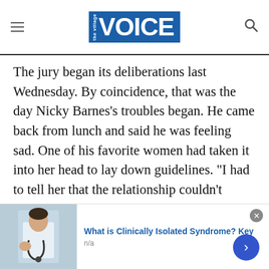the village VOICE
The jury began its deliberations last Wednesday. By coincidence, that was the day Nicky Barnes's troubles began. He came back from lunch and said he was feeling sad. One of his favorite women had taken it into her head to lay down guidelines. “I had to tell her that the relationship couldn’t continue if she were going to erect barriers,” he said. It was her scent, above all, that he would miss; he might have
[Figure (infographic): Advertisement banner: doctor/medical image on the left, title 'What is Clinically Isolated Syndrome? Key', subtitle 'n/a', close button and navigation arrow on the right]